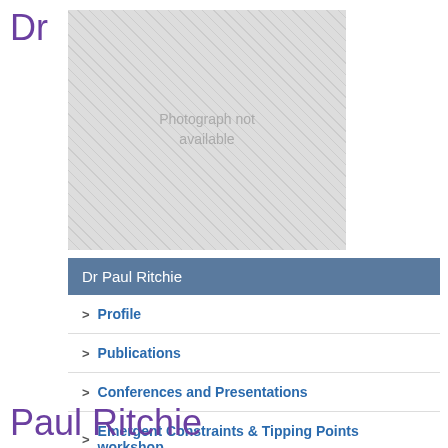Dr
[Figure (photo): Placeholder image with diagonal hatching pattern and text 'Photograph not available']
Dr Paul Ritchie
Profile
Publications
Conferences and Presentations
Emergent Constraints & Tipping Points workshop
Paul Ritchie